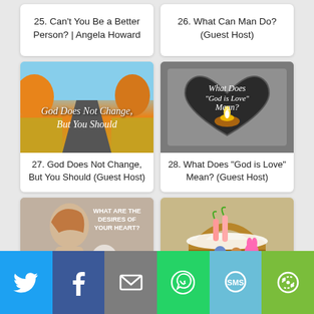25. Can't You Be a Better Person? | Angela Howard
26. What Can Man Do? (Guest Host)
[Figure (photo): Autumn road with orange trees, overlaid text: God Does Not Change, But You Should]
[Figure (photo): Heart-shaped candleholder with candle flame, overlaid text: What Does 'God is Love' Mean?]
27. God Does Not Change, But You Should (Guest Host)
28. What Does "God is Love" Mean? (Guest Host)
[Figure (photo): Woman praying with text: What Are The Desires Of Your Heart? and Delight yourself in the Lord, and he will give you the desires of your heart. Psalm 37:4]
[Figure (photo): Easter basket with colorful decorations, carrots, eggs, and bunny]
Share bar with Twitter, Facebook, Email, WhatsApp, SMS, More buttons